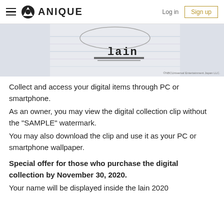Anique — Log in | Sign up
[Figure (photo): Partial view of a serial experiments lain branded image with text 'lain' and a logo, with copyright notice ©NBCUniversal Entertainment Japan LLC.]
Collect and access your digital items through PC or smartphone.
As an owner, you may view the digital collection clip without the "SAMPLE" watermark.
You may also download the clip and use it as your PC or smartphone wallpaper.
Special offer for those who purchase the digital collection by November 30, 2020.
Your name will be displayed inside the lain 2020